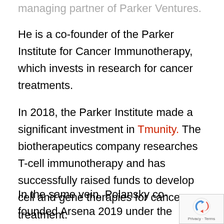managing partner of Parker Ventures.
He is a co-founder of the Parker Institute for Cancer Immunotherapy, which invests in research for cancer treatments.
In 2018, the Parker Institute made a significant investment in Tmunity. The biotherapeutics company researches T-cell immunotherapy and has successfully raised funds to develop cell and gene therapies for cancer treatment.
In the same vein, Polansky co-founded Arsena 2019 under the Parker Institute umbrella. It's a biotechnology company that furthers cancer